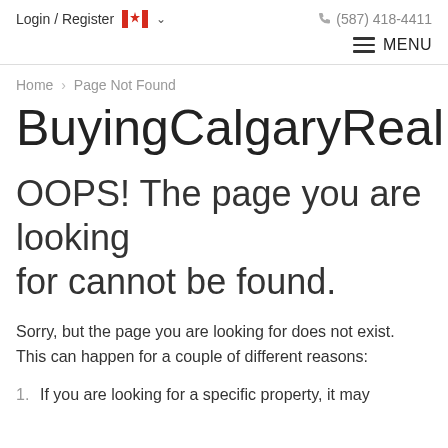Login / Register  🇨🇦 ∨   (587) 418-4411
≡ MENU
Home › Page Not Found
BuyingCalgaryRealEstate.c
OOPS! The page you are looking for cannot be found.
Sorry, but the page you are looking for does not exist. This can happen for a couple of different reasons:
1. If you are looking for a specific property, it may